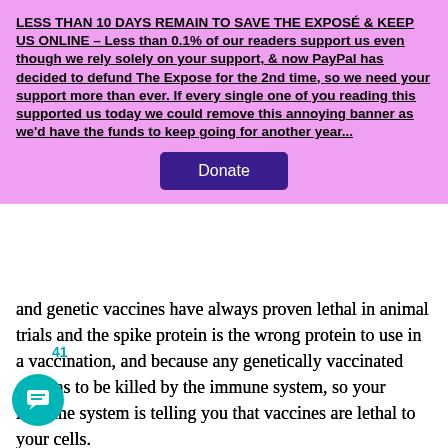LESS THAN 10 DAYS REMAIN TO SAVE THE EXPOSÉ & KEEP US ONLINE – Less than 0.1% of our readers support us even though we rely solely on your support, & now PayPal has decided to defund The Expose for the 2nd time, so we need your support more than ever. If every single one of you reading this supported us today we could remove this annoying banner as we'd have the funds to keep going for another year...
[Figure (other): Donate button — dark purple rounded rectangle with white text 'Donate']
and genetic vaccines have always proven lethal in animal trials and the spike protein is the wrong protein to use in a vaccination, and because any genetically vaccinated cell has to be killed by the immune system, so your immune system is telling you that vaccines are lethal to your cells.
And because the golden rule of immunology is NEVER vaccinate during a pandemic, because it will create variants. this occurs because during a pandemic there is a maximum amount of pathogen about to mutate around the vaccine..
people believe is status. They believe celebrity. They believe in the rich, They believe in the famous. They believe in the powerful. They believe in the successful. They say that nothing